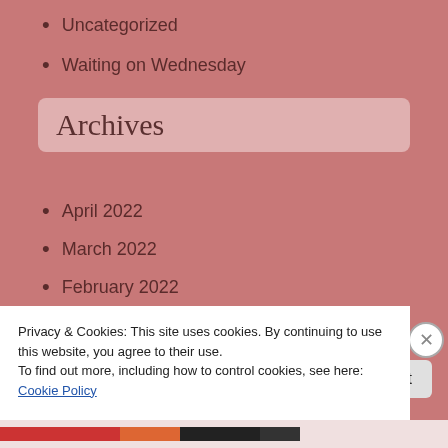Uncategorized
Waiting on Wednesday
Archives
April 2022
March 2022
February 2022
January 2022
December 2021
November 2021
Privacy & Cookies: This site uses cookies. By continuing to use this website, you agree to their use.
To find out more, including how to control cookies, see here: Cookie Policy
Close and accept